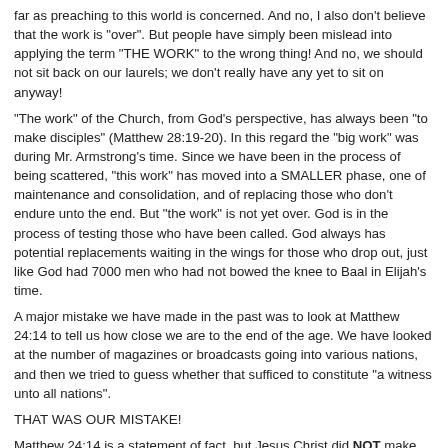far as preaching to this world is concerned. And no, I also don't believe that the work is "over". But people have simply been mislead into applying the term "THE WORK" to the wrong thing! And no, we should not sit back on our laurels; we don't really have any yet to sit on anyway!
"The work" of the Church, from God's perspective, has always been "to make disciples" (Matthew 28:19-20). In this regard the "big work" was during Mr. Armstrong's time. Since we have been in the process of being scattered, "this work" has moved into a SMALLER phase, one of maintenance and consolidation, and of replacing those who don't endure unto the end. But "the work" is not yet over. God is in the process of testing those who have been called. God always has potential replacements waiting in the wings for those who drop out, just like God had 7000 men who had not bowed the knee to Baal in Elijah's time.
A major mistake we have made in the past was to look at Matthew 24:14 to tell us how close we are to the end of the age. We have looked at the number of magazines or broadcasts going into various nations, and then we tried to guess whether that sufficed to constitute "a witness unto all nations".
THAT WAS OUR MISTAKE!
Matthew 24:14 is a statement of fact, but Jesus Christ did NOT make this statement so that we could judge how close we are to the second coming of Christ. The statements for that purpose are contained in the Book of Revelation. There it is very clear that the return of Christ takes place three and one half days after the two witnesses have been killed, which in turn is after they have witnessed for three and one half years.
Realize that "... and then shall THE END come" in Matthew 24:14 basically means: "... and then shall THE SECOND COMING OF CHRIST take place"